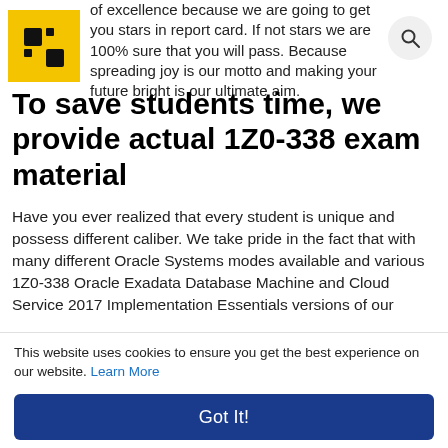[Figure (logo): Yellow square logo with stylized icon in top-left corner]
of excellence because we are going to get you stars in report card. If not stars we are 100% sure that you will pass. Because spreading joy is our motto and making your future bright is our ultimate aim.
To save students time, we provide actual 1Z0-338 exam material
Have you ever realized that every student is unique and possess different caliber. We take pride in the fact that with many different Oracle Systems modes available and various 1Z0-338 Oracle Exadata Database Machine and Cloud Service 2017 Implementation Essentials versions of our services
This website uses cookies to ensure you get the best experience on our website. Learn More
Got It!